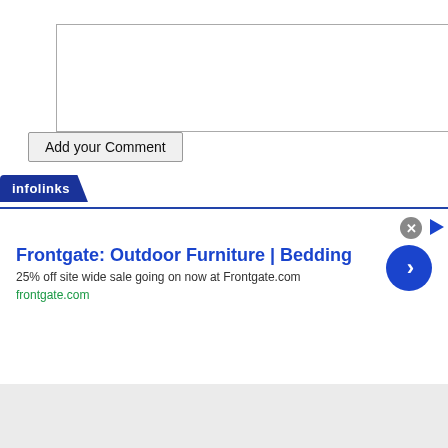[Figure (screenshot): Empty text input/textarea box with thin gray border]
Add your Comment
[Figure (screenshot): Infolinks advertisement banner. Title: 'Frontgate: Outdoor Furniture | Bedding'. Subtitle: '25% off site wide sale going on now at Frontgate.com'. URL: 'frontgate.com'. Contains close button (X) and navigation arrow circle button.]